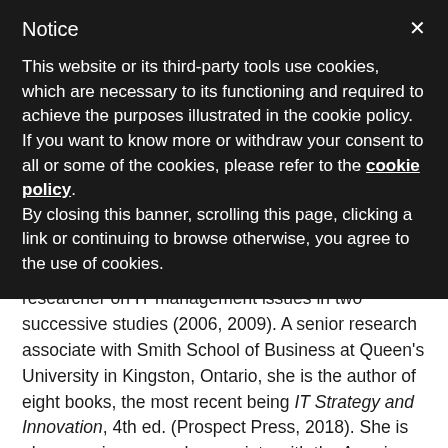Notice
This website or its third-party tools use cookies, which are necessary to its functioning and required to achieve the purposes illustrated in the cookie policy. If you want to know more or withdraw your consent to all or some of the cookies, please refer to the cookie policy. By closing this banner, scrolling this page, clicking a link or continuing to browse otherwise, you agree to the use of cookies.
researcher on IT management issues in two successive studies (2006, 2009). A senior research associate with Smith School of Business at Queen's University in Kingston, Ontario, she is the author of eight books, the most recent being IT Strategy and Innovation, 4th ed. (Prospect Press, 2018). She is also a senior research associate with the American Society for Information Management's Advanced Practices Council. A former senior IT manager, she is co-director of the IT Management Forum and the CIO Brief, which facilitate